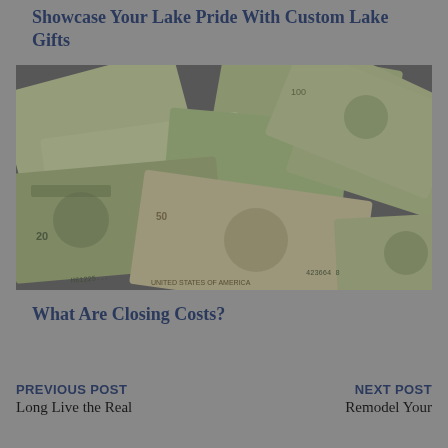Showcase Your Lake Pride With Custom Lake Gifts
[Figure (photo): Overhead view of scattered US dollar bills of various denominations including $1, $20, $50, and $100 bills spread across a surface]
What Are Closing Costs?
PREVIOUS POST Long Live the Real
NEXT POST Remodel Your